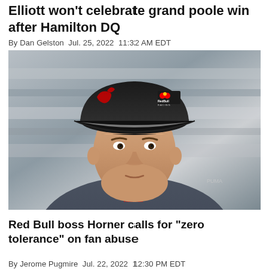Elliott won't celebrate grand poole win after Hamilton DQ
By Dan Gelston Jul. 25, 2022 11:32 AM EDT
[Figure (photo): Close-up portrait of Max Verstappen wearing a black Red Bull Racing cap with red graphic and Red Bull Racing logo, and a grey Red Bull branded racing undershirt with Puma logo visible]
Red Bull boss Horner calls for "zero tolerance" on fan abuse
By Jerome Pugmire Jul. 22, 2022 12:30 PM EDT